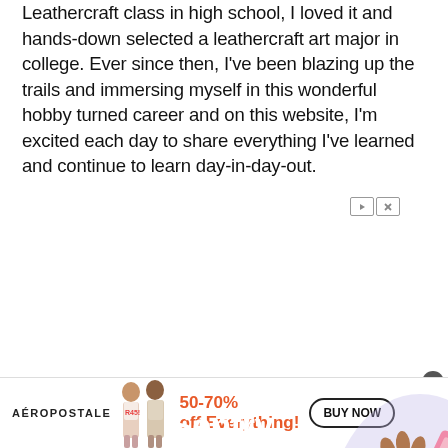Leathercraft class in high school, I loved it and hands-down selected a leathercraft art major in college. Ever since then, I've been blazing up the trails and immersing myself in this wonderful hobby turned career and on this website, I'm excited each day to share everything I've learned and continue to learn day-in-day-out.
[Figure (illustration): Sentry advertisement banner with purple background showing 'Sentry can't fix this.' text in white and an illustration of a person looking at a pink phone, with Sentry logo at bottom left. Navigation arrow icons at top right.]
[Figure (illustration): Aéropostale banner advertisement showing brand name, two models, '50-70% off Everything!' in orange text, and a 'BUY NOW' button.]